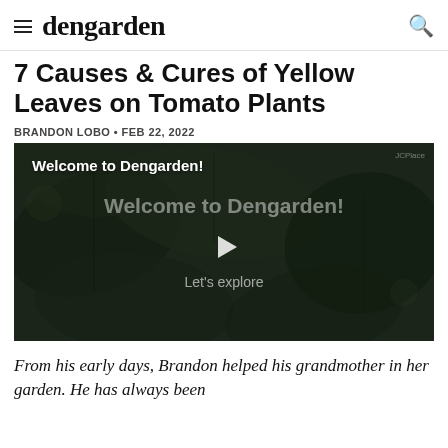dengarden
7 Causes & Cures of Yellow Leaves on Tomato Plants
BRANDON LOBO • FEB 22, 2022
[Figure (screenshot): Video thumbnail with dark green leaf background. Top-left text: 'Welcome to Dengarden!' Center shows 'Welcome to Dengarden!' in large faded text, a play button triangle, and 'Let's explore' below.]
From his early days, Brandon helped his grandmother in her garden. He has always been